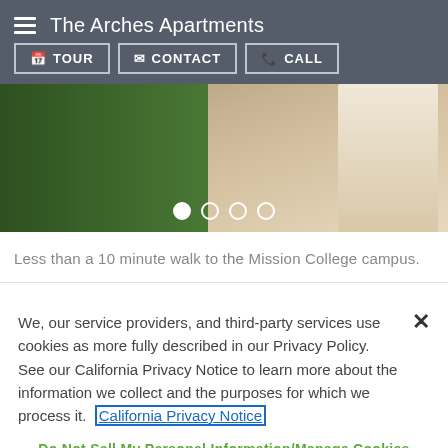The Arches Apartments
[Figure (photo): Outdoor photo showing green grass lawn and a beige/tan walkway or path near Mission College campus]
Less than a 10 minute walk to the Mission College campus.
We, our service providers, and third-party services use cookies as more fully described in our Privacy Policy. See our California Privacy Notice to learn more about the information we collect and the purposes for which we process it. California Privacy Notice
Do Not Sell My Personal Information/Manage Cookies
Accept Cookies